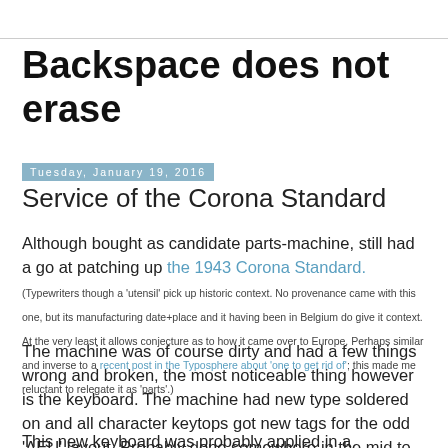Backspace does not erase
Tuesday, January 19, 2016
Service of the Corona Standard
Although bought as candidate parts-machine, still had a go at patching up the 1943 Corona Standard. (Typewriters though a 'utensil' pick up historic context. No provenance came with this one, but its manufacturing date+place and it having been in Belgium do give it context. At the very least it allows conjecture as to how it came over to Europe. Perhaps similar and inverse to a recent post in the Typosphere about 'one to get rid of'; this made me reluctant to relegate it as 'parts'.)
The machine was of course dirty and had a few things wrong and broken, the most noticeable thing however is the keyboard. The machine had new type soldered on and all character keytops got new tags for the odd 'AEU' layout. Probably done somewhere in the mid to late forties.
This new keyboard was probably applied in a Montpellier